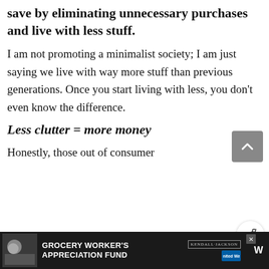E: Another facet is how much you save by eliminating unnecessary purchases and live with less stuff.
I am not promoting a minimalist society; I am just saying we live with way more stuff than previous generations. Once you start living with less, you don't even know the difference.
Less clutter = more money
Honestly, those out of consumer
[Figure (infographic): What's Next promotional box showing '$80000 a Year is How Muc...' with thumbnail image of money]
[Figure (infographic): Advertisement banner: Grocery Worker's Appreciation Fund with Kendall Jackson and United Way logos]